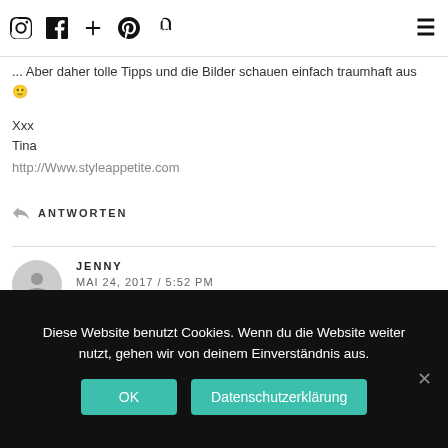[Figure (other): Navigation bar with social media icons (Instagram, Facebook, Plus, Pinterest, Snapchat) and hamburger menu]
... Aber daher tolle Tipps und die Bilder schauen einfach traumhaft aus 🙂
Xxx
Tina
http://Www.styleappetite.com
↩ ANTWORTEN
JENNY
MAI 24, 2017 / 5:52 PM
Ohhh! Ich hatte das früher als Kind auch immer ganz stark – mir halfen die Produkte von Ladival – extra gegen Mallorca Akne ganz gut! Seither habe ich nie wieder Mallorca Akne gehabt!
Diese Website benutzt Cookies. Wenn du die Website weiter nutzt, gehen wir von deinem Einverständnis aus.